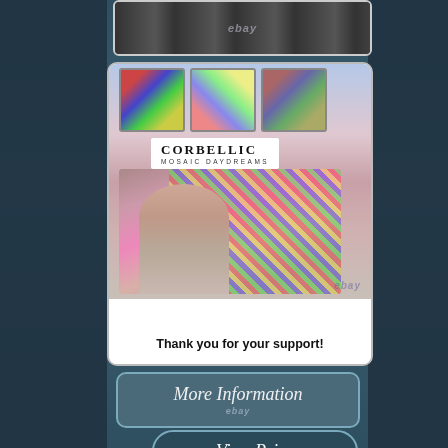[Figure (photo): Partial top photo showing group of people, partially cropped, with eBay watermark]
[Figure (photo): Corbellic Mosaic Daydreams artist photo showing a bald man smiling in front of colorful mosaic artworks, with text 'Thank you for your support!']
Thank you for your support!
More Information
ebay
View Price